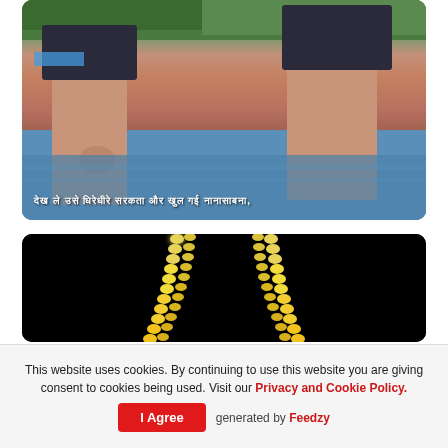[Figure (photo): Video thumbnail showing legs of two people in dark swimsuits near a pool with blue water and green foliage background. Subtitle text in non-Latin script with comma at end overlaid at bottom.]
[Figure (photo): Video thumbnail showing glowing yellow-white chain or garland strands against a black background forming a V or triangle shape.]
This website uses cookies. By continuing to use this website you are giving consent to cookies being used. Visit our Privacy and Cookie Policy.
I Agree
generated by Feedzy